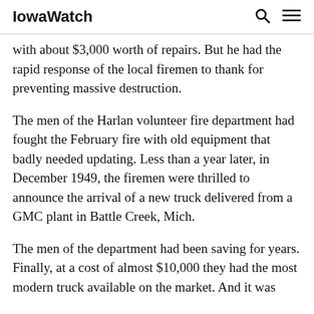IowaWatch
with about $3,000 worth of repairs. But he had the rapid response of the local firemen to thank for preventing massive destruction.
The men of the Harlan volunteer fire department had fought the February fire with old equipment that badly needed updating. Less than a year later, in December 1949, the firemen were thrilled to announce the arrival of a new truck delivered from a GMC plant in Battle Creek, Mich.
The men of the department had been saving for years. Finally, at a cost of almost $10,000 they had the most modern truck available on the market. And it was